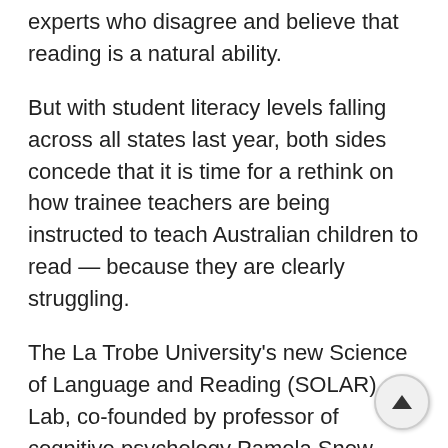experts who disagree and believe that reading is a natural ability.
But with student literacy levels falling across all states last year, both sides concede that it is time for a rethink on how trainee teachers are being instructed to teach Australian children to read — because they are clearly struggling.
The La Trobe University's new Science of Language and Reading (SOLAR) Lab, co-founded by professor of cognitive psychology Pamela Snow, aims to fill what it sees as a crucial curriculum gap in tertiary education degrees.
The lab aims to give teachers the knowledge needed to teach 'systematic synthetic phonics' more comprehensively in Australian primary schools.